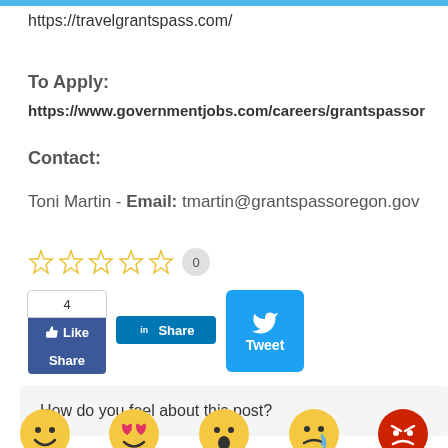https://travelgrantspass.com/
To Apply:
https://www.governmentjobs.com/careers/grantspassor
Contact:
Toni Martin - Email: tmartin@grantspassoregon.gov
[Figure (infographic): Five empty star rating icons followed by a count badge showing 0]
[Figure (infographic): Social sharing buttons: Facebook Like/Share widget with count 4, LinkedIn Share button, Twitter Tweet button]
How do you feel about this post?
[Figure (infographic): Row of emoji reaction faces: smiley, heart-eyes, surprised, crying, angry]